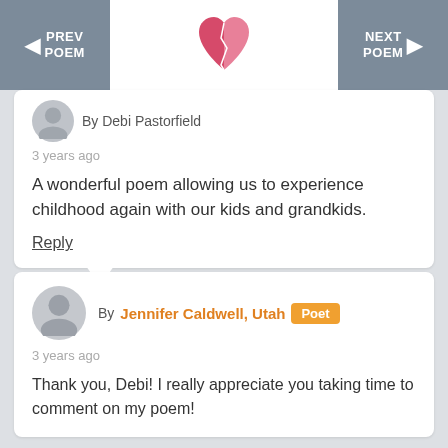PREV POEM | [logo] | NEXT POEM
By Debi Pastorfield
3 years ago
A wonderful poem allowing us to experience childhood again with our kids and grandkids.
Reply
By Jennifer Caldwell, Utah  Poet
3 years ago
Thank you, Debi! I really appreciate you taking time to comment on my poem!